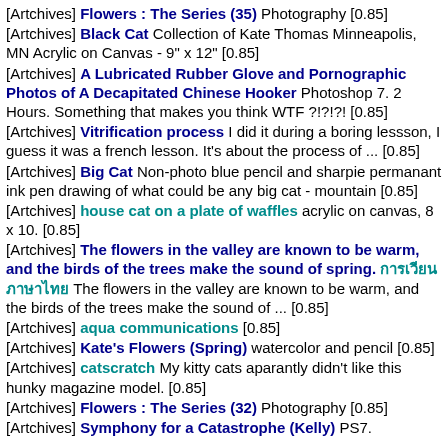[Artchives] Flowers : The Series (35) Photography [0.85]
[Artchives] Black Cat Collection of Kate Thomas Minneapolis, MN Acrylic on Canvas - 9" x 12" [0.85]
[Artchives] A Lubricated Rubber Glove and Pornographic Photos of A Decapitated Chinese Hooker Photoshop 7. 2 Hours. Something that makes you think WTF ?!?!?! [0.85]
[Artchives] Vitrification process I did it during a boring lessson, I guess it was a french lesson. It's about the process of ... [0.85]
[Artchives] Big Cat Non-photo blue pencil and sharpie permanant ink pen drawing of what could be any big cat - mountain [0.85]
[Artchives] house cat on a plate of waffles acrylic on canvas, 8 x 10. [0.85]
[Artchives] The flowers in the valley are known to be warm, and the birds of the trees make the sound of spring. [Thai text] The flowers in the valley are known to be warm, and the birds of the trees make the sound of ... [0.85]
[Artchives] aqua communications [0.85]
[Artchives] Kate's Flowers (Spring) watercolor and pencil [0.85]
[Artchives] catscratch My kitty cats aparantly didn't like this hunky magazine model. [0.85]
[Artchives] Flowers : The Series (32) Photography [0.85]
[Artchives] Symphony for a Catastrophe (Kelly) PS7.